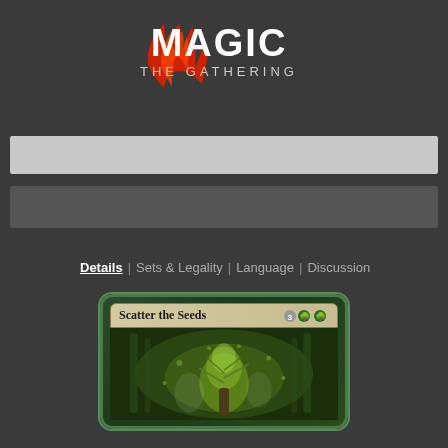[Figure (logo): Magic: The Gathering logo with red fireball and white text on dark background]
[Figure (other): Search bar (light gray)]
[Figure (other): Navigation bar (dark gray)]
Details | Sets & Legality | Language | Discussion
[Figure (illustration): Magic: The Gathering card — Scatter the Seeds, cost 3GG, with green forest art]